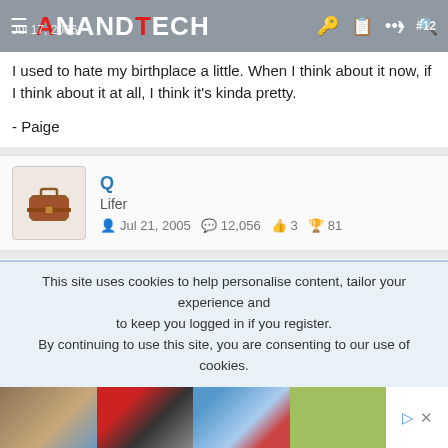AnandTech — Jul 17, 2006  #12
I used to hate my birthplace a little. When I think about it now, if I think about it at all, I think it's kinda pretty.

- Paige
Q
Lifer
Jul 21, 2005  12,056  3  81
Jul 17, 2006  #13
I like mine a good bit
-Colin
This site uses cookies to help personalise content, tailor your experience and to keep you logged in if you register.
By continuing to use this site, you are consenting to our use of cookies.